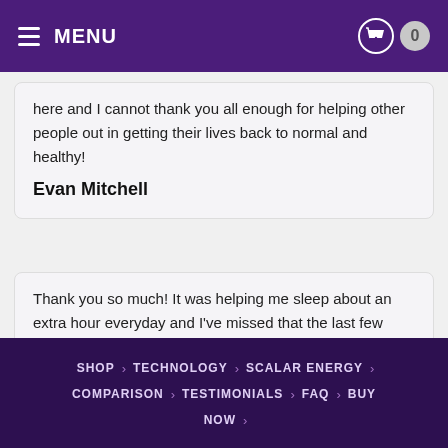MENU | 0
here and I cannot thank you all enough for helping other people out in getting their lives back to normal and healthy!
Evan Mitchell
Thank you so much! It was helping me sleep about an extra hour everyday and I've missed that the last few days...you may keep the chain...I have one that's pretty indestructible...again...thanks so much...you guys are wonderful!
SHOP > TECHNOLOGY > SCALAR ENERGY > COMPARISON > TESTIMONIALS > FAQ > BUY NOW >